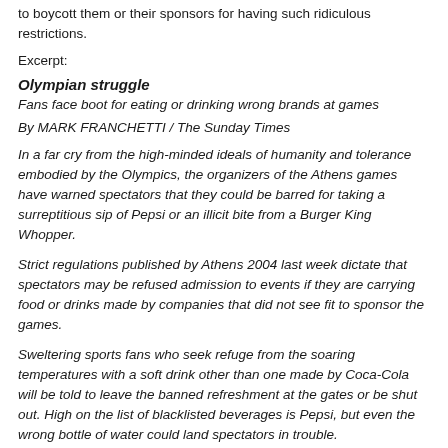to boycott them or their sponsors for having such ridiculous restrictions.
Excerpt:
Olympian struggle
Fans face boot for eating or drinking wrong brands at games
By MARK FRANCHETTI / The Sunday Times
In a far cry from the high-minded ideals of humanity and tolerance embodied by the Olympics, the organizers of the Athens games have warned spectators that they could be barred for taking a surreptitious sip of Pepsi or an illicit bite from a Burger King Whopper.
Strict regulations published by Athens 2004 last week dictate that spectators may be refused admission to events if they are carrying food or drinks made by companies that did not see fit to sponsor the games.
Sweltering sports fans who seek refuge from the soaring temperatures with a soft drink other than one made by Coca-Cola will be told to leave the banned refreshment at the gates or be shut out. High on the list of blacklisted beverages is Pepsi, but even the wrong bottle of water could land spectators in trouble.